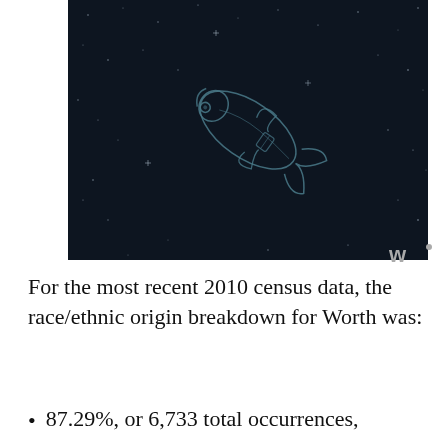[Figure (illustration): Dark navy/black background with white star-like speckles, featuring a light teal outline illustration of a stylized fish or marine creature in the center.]
For the most recent 2010 census data, the race/ethnic origin breakdown for Worth was:
87.29%, or 6,733 total occurrences,